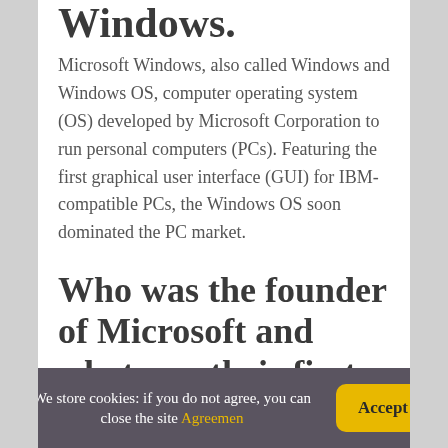Windows.
Microsoft Windows, also called Windows and Windows OS, computer operating system (OS) developed by Microsoft Corporation to run personal computers (PCs). Featuring the first graphical user interface (GUI) for IBM-compatible PCs, the Windows OS soon dominated the PC market.
Who was the founder of Microsoft and what was their first product?
We store cookies: if you do not agree, you can close the site Agreemen